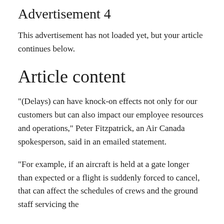Advertisement 4
This advertisement has not loaded yet, but your article continues below.
Article content
“(Delays) can have knock-on effects not only for our customers but can also impact our employee resources and operations,” Peter Fitzpatrick, an Air Canada spokesperson, said in an emailed statement.
“For example, if an aircraft is held at a gate longer than expected or a flight is suddenly forced to cancel, that can affect the schedules of crews and the ground staff servicing the